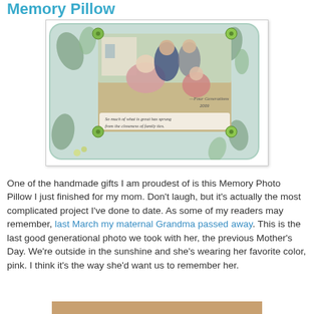Memory Pillow
[Figure (photo): A decorative memory photo pillow with a floral fabric cover showing four generations of a family. The pillow has a family photo printed on it with the text 'Four Generations 2009' and a quote 'So much of what is great has sprung from the closeness of family ties.' Green buttons decorate the corners.]
One of the handmade gifts I am proudest of is this Memory Photo Pillow I just finished for my mom. Don't laugh, but it's actually the most complicated project I've done to date. As some of my readers may remember, last March my maternal Grandma passed away. This is the last good generational photo we took with her, the previous Mother's Day. We're outside in the sunshine and she's wearing her favorite color, pink. I think it's the way she'd want us to remember her.
[Figure (photo): Partial view of another photo at the bottom of the page, cut off.]